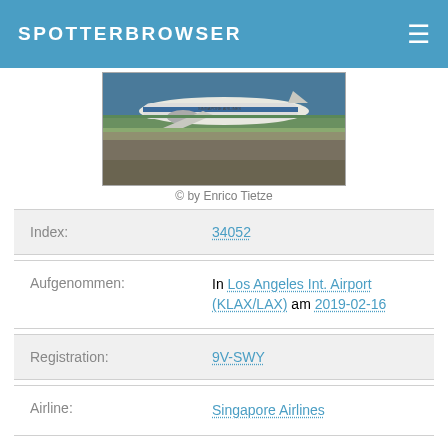SPOTTERBROWSER
[Figure (photo): Singapore Airlines aircraft on tarmac at Los Angeles International Airport, photographed at night]
© by Enrico Tietze
| Index: | 34052 |
| Aufgenommen: | In Los Angeles Int. Airport (KLAX/LAX) am 2019-02-16 |
| Registration: | 9V-SWY |
| Airline: | Singapore Airlines |